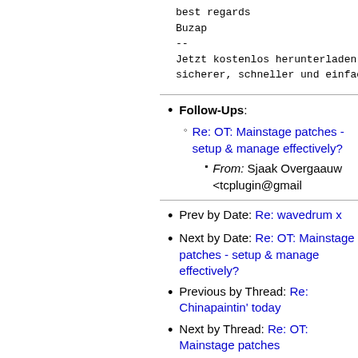best regards
Buzap
--
Jetzt kostenlos herunterladen:
sicherer, schneller und einfach
Follow-Ups:
Re: OT: Mainstage patches - setup & manage effectively?
From: Sjaak Overgaauw <tcplugin@gmail
Prev by Date: Re: wavedrum x
Next by Date: Re: OT: Mainstage patches - setup & manage effectively?
Previous by Thread: Re: Chinapaintin' today
Next by Thread: Re: OT: Mainstage patches